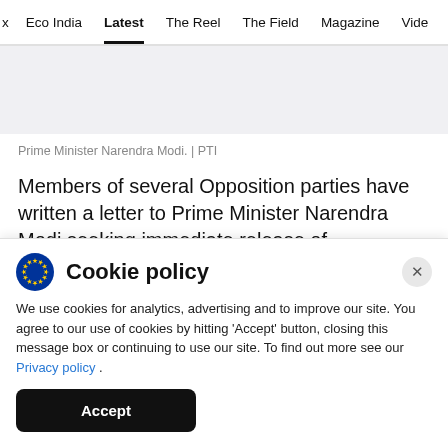x  Eco India  Latest  The Reel  The Field  Magazine  Video
[Figure (photo): Gray placeholder area representing a photo of Prime Minister Narendra Modi]
Prime Minister Narendra Modi. | PTI
Members of several Opposition parties have written a letter to Prime Minister Narendra Modi seeking immediate release of academicians,
Cookie policy
We use cookies for analytics, advertising and to improve our site. You agree to our use of cookies by hitting 'Accept' button, closing this message box or continuing to use our site. To find out more see our Privacy policy .
Accept